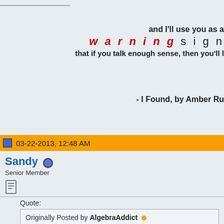and I'll use you as a warning sign that if you talk enough sense, then you'll lose your mind - I Found, by Amber Run
03-22-2013, 12:48 AM
Sandy Senior Member
Quote: Originally Posted by AlgebraAddict
If you want to find out anything, read the books. Good grief.